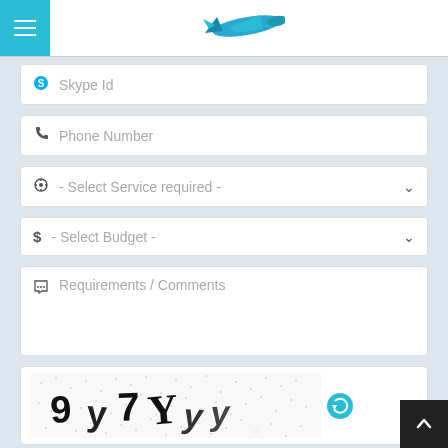[Figure (screenshot): Mobile app header with hamburger menu (teal background, white lines) on the left and a blue airplane/bird logo in the center]
Skype Id
Phone Number
- Select Service required -
- Select Budget -
Requirements / Comments
[Figure (screenshot): CAPTCHA image showing distorted text '9y7Yyy' with a refresh/reload icon (blue circular arrows)]
Type the above code
SUBMIT